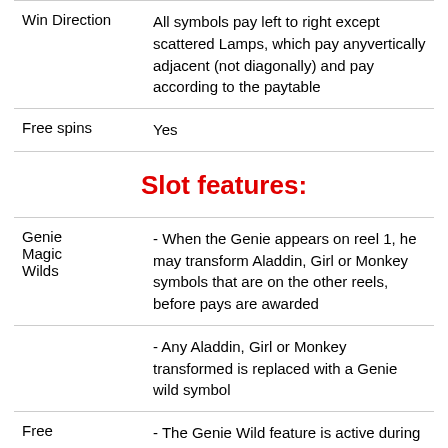| Win Direction | All symbols pay left to right except scattered Lamps, which pay anyvertically adjacent (not diagonally) and pay according to the paytable |
| Free spins | Yes |
Slot features:
| Genie Magic Wilds | - When the Genie appears on reel 1, he may transform Aladdin, Girl or Monkey symbols that are on the other reels, before pays are awarded |
|  | - Any Aladdin, Girl or Monkey transformed is replaced with a Genie wild symbol |
| Free | - The Genie Wild feature is active during |